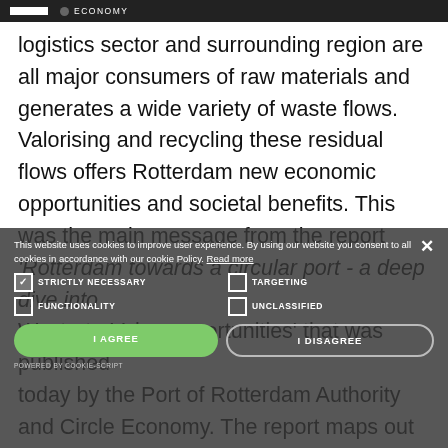ECONOMY
logistics sector and surrounding region are all major consumers of raw materials and generates a wide variety of waste flows. Valorising and recycling these residual flows offers Rotterdam new economic opportunities and societal benefits. This was the main message from the report 'Rotterdam towards a circular port - a deep dive into Waste-to-Value opportunities' that was published today by the Port of Rotterdam Authority and Circle Economy. The report maps out the current waste flows in the port, as well as developments within a number of innovative industrial companies that are already committed to circular activities. The report also provides insights into